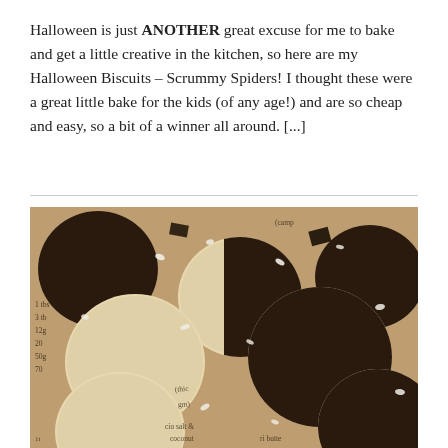Halloween is just ANOTHER great excuse for me to bake and get a little creative in the kitchen, so here are my Halloween Biscuits – Scrummy Spiders! I thought these were a great little bake for the kids (of any age!) and are so cheap and easy, so a bit of a winner all around. [...]
[Figure (photo): Photo of chocolate-dipped round biscuits/cookies scattered on baking paper with handwritten recipe notes. The cookies are half-dipped in dark chocolate and sprinkled with white flakes (coconut or sea salt). Handwritten text on the paper includes 'Gluten free', 'camp', ingredients list with '1 tbs', '3 tbs', '12g', '20', '50g', '70', 'chio salt', 'coconut butter', and timing notes '5 15min', '10-20'.]